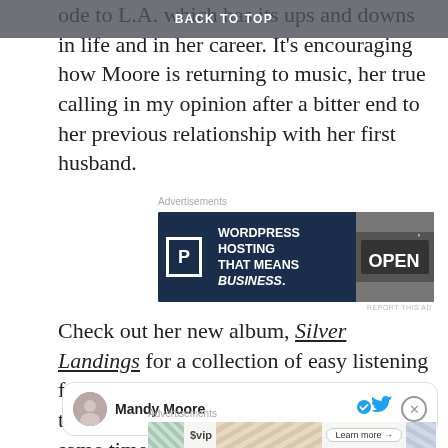BACK TO TOP
ode to L.A. which has its ups and downs in life and in her career. It’s encouraging how Moore is returning to music, her true calling in my opinion after a bitter end to her previous relationship with her first husband.
Advertisements
[Figure (screenshot): WordPress VIP advertisement: dark navy banner with stylized P logo, text WORDPRESS HOSTING THAT MEANS BUSINESS., and photo of OPEN sign on right.]
REPORT THIS AD
Check out her new album, Silver Landings for a collection of easy listening folk-pop songs. She truly wants us to think about our lives and be joyful at the same time.
[Figure (screenshot): Twitter embed box showing Mandy Moore verified account with blue bird icon and close button.]
Advertisements
[Figure (screenshot): WordPress VIP advertisement banner with WP VIP logo, decorative card graphics, Learn more button.]